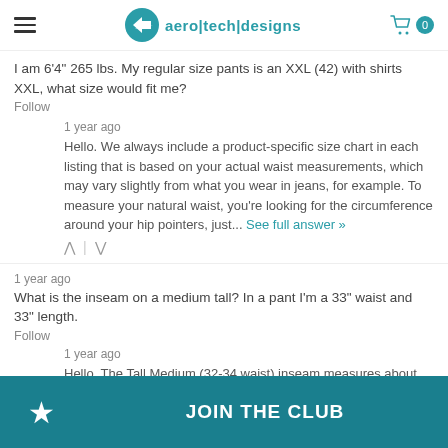aero|tech|designs
I am 6'4" 265 lbs. My regular size pants is an XXL (42) with shirts XXL, what size would fit me?
Follow
1 year ago
Hello. We always include a product-specific size chart in each listing that is based on your actual waist measurements, which may vary slightly from what you wear in jeans, for example. To measure your natural waist, you're looking for the circumference around your hip pointers, just... See full answer »
1 year ago
What is the inseam on a medium tall? In a pant I'm a 33" waist and 33" length.
Follow
1 year ago
Hello. The Tall Medium (32-34 waist) inseam measures about 30 3/4 inches when just laying flat on a table. The actual inseam when stretched and worn is usually in
JOIN THE CLUB